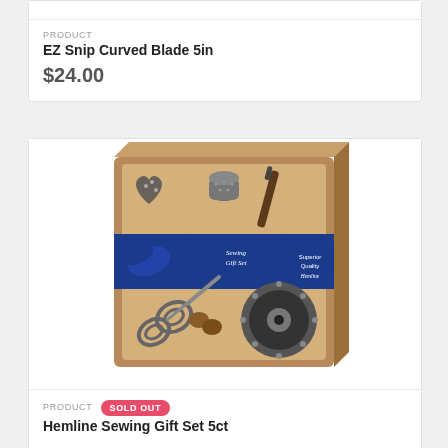PRODUCT
EZ Snip Curved Blade 5in
$24.00
[Figure (photo): Hemline Sewing Gift Set 5ct in kraft box with blue ribbon band reading 'Sewing Gift Set' and Hemline branding. Box contains heart-shaped pincushion, thimble, seam ripper, ornate scissors, and pin/button storage reel.]
PRODUCT SOLD OUT
Hemline Sewing Gift Set 5ct